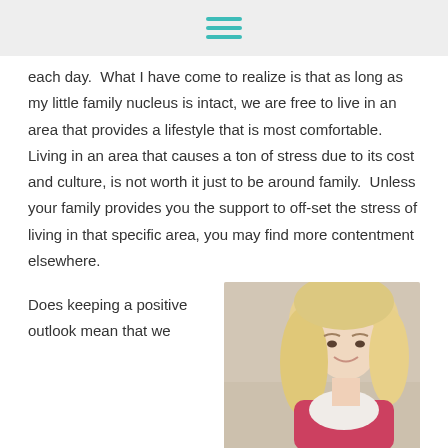each day.  What I have come to realize is that as long as my little family nucleus is intact, we are free to live in an area that provides a lifestyle that is most comfortable.  Living in an area that causes a ton of stress due to its cost and culture, is not worth it just to be around family.  Unless your family provides you the support to off-set the stress of living in that specific area, you may find more contentment elsewhere.
Does keeping a positive outlook mean that we
[Figure (photo): Photo of a smiling blonde woman, appearing to be outdoors with a light sandy/beach background, wearing a pink/red top]